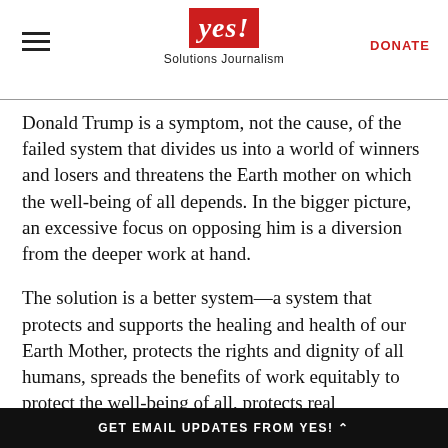yes! Solutions Journalism | DONATE
Donald Trump is a symptom, not the cause, of the failed system that divides us into a world of winners and losers and threatens the Earth mother on which the well-being of all depends. In the bigger picture, an excessive focus on opposing him is a diversion from the deeper work at hand.
The solution is a better system—a system that protects and supports the healing and health of our Earth Mother, protects the rights and dignity of all humans, spreads the benefits of work equitably to protect the well-being of all, protects real democracy, and encourages us to stand together as protectors of each other in times of crisis
GET EMAIL UPDATES FROM YES!